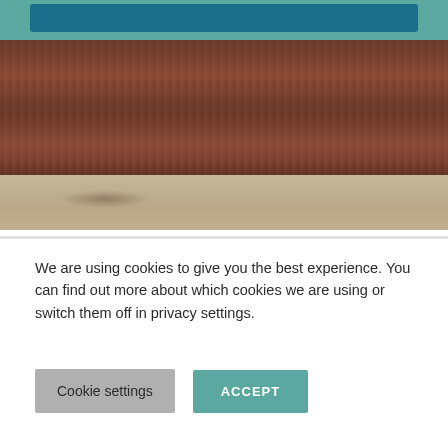[Figure (photo): Partial view of a webpage showing a teal header area with a dark blue button, a wooden furniture surface below, and a beige floor with a small shadow/dent visible at the bottom of the image.]
We are using cookies to give you the best experience. You can find out more about which cookies we are using or switch them off in privacy settings.
Cookie settings
ACCEPT